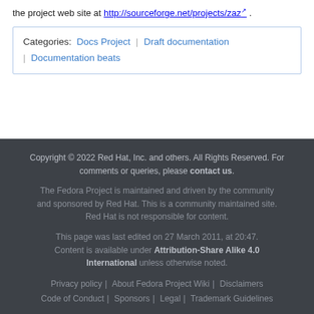the project web site at http://sourceforge.net/projects/zaz .
| Categories:  Docs Project | Draft documentation | Documentation beats |
Copyright © 2022 Red Hat, Inc. and others. All Rights Reserved. For comments or queries, please contact us.

The Fedora Project is maintained and driven by the community and sponsored by Red Hat. This is a community maintained site. Red Hat is not responsible for content.

This page was last edited on 27 March 2011, at 20:47. Content is available under Attribution-Share Alike 4.0 International unless otherwise noted.

Privacy policy | About Fedora Project Wiki | Disclaimers | Code of Conduct | Sponsors | Legal | Trademark Guidelines